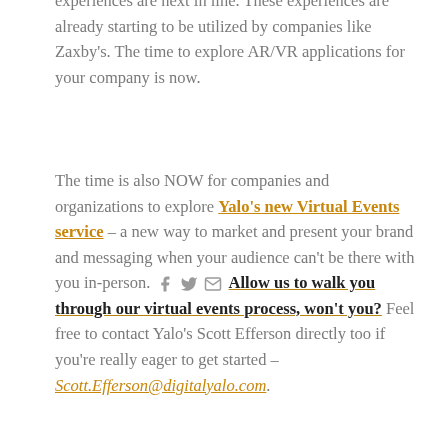experiences are next in line. These experiences are already starting to be utilized by companies like Zaxby's. The time to explore AR/VR applications for your company is now.
The time is also NOW for companies and organizations to explore Yalo's new Virtual Events service – a new way to market and present your brand and messaging when your audience can't be there with you in-person. Allow us to walk you through our virtual events process, won't you? Feel free to contact Yalo's Scott Efferson directly too if you're really eager to get started – Scott.Efferson@digitalyalo.com.